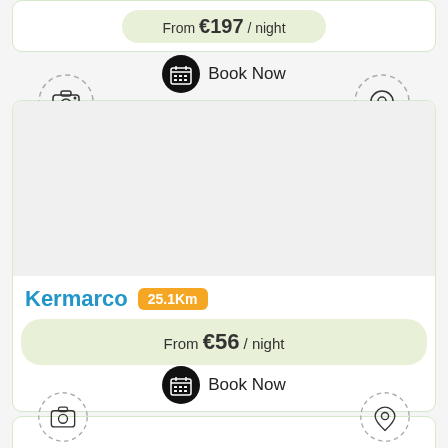From €197 / night
Book Now
[Figure (illustration): Camera icon in dashed circle]
[Figure (illustration): Location pin icon in dashed circle]
Kermarco 25.1Km
From €56 / night
Book Now
[Figure (illustration): Camera icon in dashed circle - partial bottom card]
[Figure (illustration): Location pin icon in dashed circle - partial bottom card]